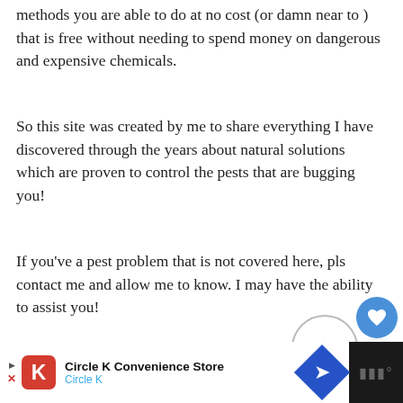methods you are able to do at no cost (or damn near to ) that is free without needing to spend money on dangerous and expensive chemicals.
So this site was created by me to share everything I have discovered through the years about natural solutions which are proven to control the pests that are bugging you!
If you've a pest problem that is not covered here, pls contact me and allow me to know. I may have the ability to assist you!
RECENT POSTS
[Figure (photo): Thumbnail image of a bed bug trap device on a brown surface]
Do Bed Bug Traps Work For Fleas?
Circle K Convenience Store
Circle K